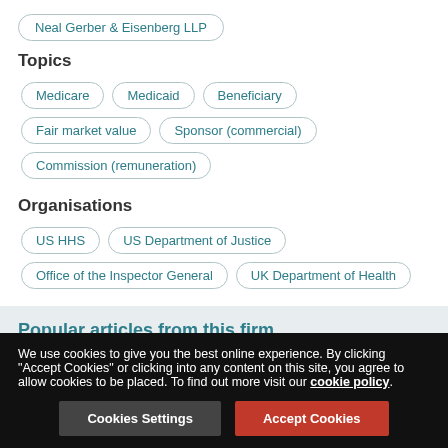Neal Gerber & Eisenberg LLP
Topics
Medicare
Medicaid
Beneficiary
Fair market value
Sponsor (commercial)
Commission (remuneration)
Organisations
US HHS
US Department of Justice
Office of the Inspector General
UK Department of Health
Popular articles from this firm
We use cookies to give you the best online experience. By clicking "Accept Cookies" or clicking into any content on this site, you agree to allow cookies to be placed. To find out more visit our cookie policy.
Cookies Settings
Accept Cookies